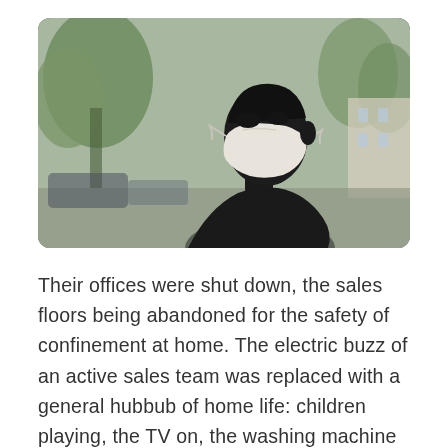[Figure (photo): A dark bronze statue of a man wearing a white cloth face mask, photographed outdoors with trees and blurred urban background visible. The statue is shown from approximately chest-up, profile view facing right.]
Their offices were shut down, the sales floors being abandoned for the safety of confinement at home. The electric buzz of an active sales team was replaced with a general hubbub of home life: children playing, the TV on, the washing machine on an infinite spin cycle.